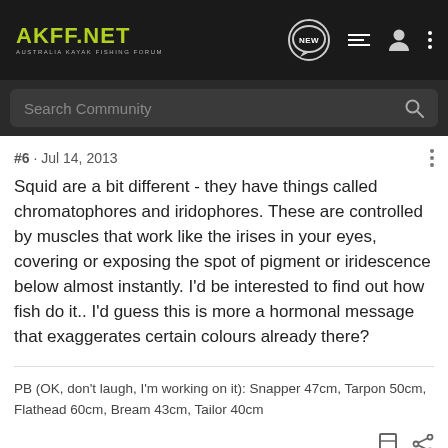AKFF.NET AUSTRALIA KAYAK FISHING FORUM
Search Community
#6 · Jul 14, 2013
Squid are a bit different - they have things called chromatophores and iridophores. These are controlled by muscles that work like the irises in your eyes, covering or exposing the spot of pigment or iridescence below almost instantly. I'd be interested to find out how fish do it.. I'd guess this is more a hormonal message that exaggerates certain colours already there?
PB (OK, don't laugh, I'm working on it): Snapper 47cm, Tarpon 50cm, Flathead 60cm, Bream 43cm, Tailor 40cm